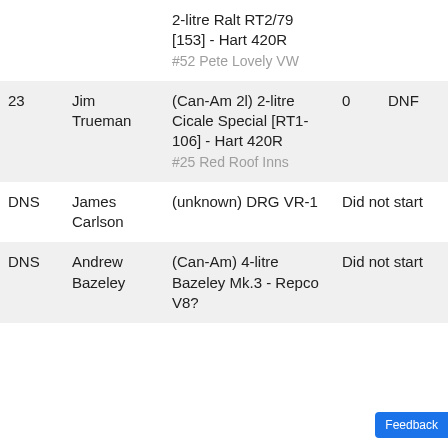| Pos | Driver | Car | Laps | Result |
| --- | --- | --- | --- | --- |
|  |  | 2-litre Ralt RT2/79 [153] - Hart 420R
#52 Pete Lovely VW |  |  |
| 23 | Jim Trueman | (Can-Am 2l) 2-litre Cicale Special [RT1-106] - Hart 420R
#25 Red Roof Inns | 0 | DNF |
| DNS | James Carlson | (unknown) DRG VR-1 | Did not start |  |
| DNS | Andrew Bazeley | (Can-Am) 4-litre Bazeley Mk.3 - Repco V8? | Did not start |  |